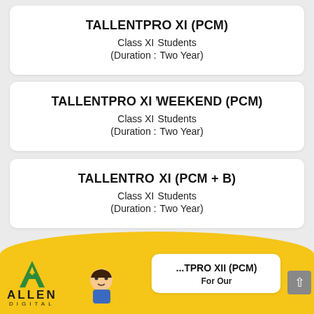TALLENTPRO XI (PCM)
Class XI Students
(Duration : Two Year)
TALLENTPRO XI WEEKEND (PCM)
Class XI Students
(Duration : Two Year)
TALLENTRO XI (PCM + B)
Class XI Students
(Duration : Two Year)
[Figure (logo): Allen Digital logo with A-shaped mark, text ALLEN DIGITAL, and a cartoon student character]
...TPRO XII (PCM)
For Our